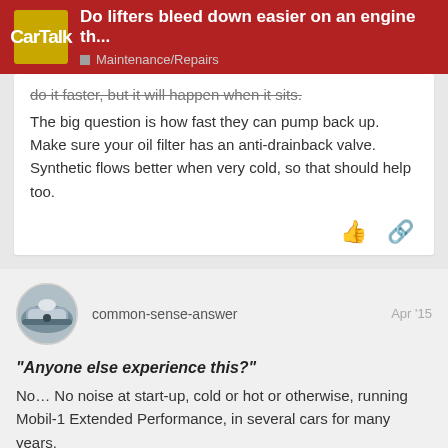Do lifters bleed down easier on an engine th... | Maintenance/Repairs
do it faster, but it will happen when it sits.
The big question is how fast they can pump back up. Make sure your oil filter has an anti-drainback valve. Synthetic flows better when very cold, so that should help too.
common-sense-answer    Apr '15
"Anyone else experience this?"
No… No noise at start-up, cold or hot or otherwise, running Mobil-1 Extended Performance, in several cars for many years.